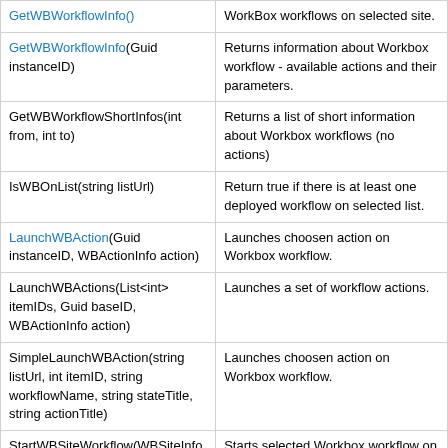| Method | Description |
| --- | --- |
| GetWBWorkflowInfo() | WorkBox workflows on selected site. |
| GetWBWorkflowInfo(Guid instanceID) | Returns information about Workbox workflow - available actions and their parameters. |
| GetWBWorkflowShortInfos(int from, int to) | Returns a list of short information about Workbox workflows (no actions) |
| IsWBOnList(string listUrl) | Return true if there is at least one deployed workflow on selected list. |
| LaunchWBAction(Guid instanceID, WBActionInfo action) | Launches choosen action on Workbox workflow. |
| LaunchWBActions(List<int> itemIDs, Guid baseID, WBActionInfo action) | Launches a set of workflow actions. |
| SimpleLaunchWBAction(string listUrl, int itemID, string workflowName, string stateTitle, string actionTitle) | Launches choosen action on Workbox workflow. |
| StartWBSiteWorkflow(WBSiteInfoWorkflow workflowInfo) | Starts selected Workbox workflow on site. |
| StartWBWorkflow(string listUrl, int itemID, WBListInfoWorkflow workflowInfo) | Starts selected Workbox workflow on list item. |
| TerminateWBWorkflow(Guid instanceID) | Terminates Workbox workflow. |